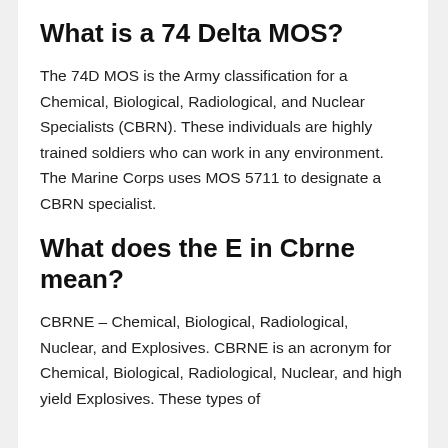What is a 74 Delta MOS?
The 74D MOS is the Army classification for a Chemical, Biological, Radiological, and Nuclear Specialists (CBRN). These individuals are highly trained soldiers who can work in any environment. The Marine Corps uses MOS 5711 to designate a CBRN specialist.
What does the E in Cbrne mean?
CBRNE – Chemical, Biological, Radiological, Nuclear, and Explosives. CBRNE is an acronym for Chemical, Biological, Radiological, Nuclear, and high yield Explosives. These types of